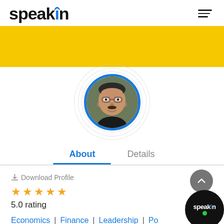[Figure (logo): SpeakIn logo — black sans-serif text 'speakîn' with blue caret above the 'i' serving as diacritic]
[Figure (photo): Circular profile photo of a middle-aged man with glasses, mustache, wearing dark top, set in yellow banner background with dotted ripple circles and blue border ring]
About | Details
⬇ Download Profile
★★★★★ 5.0 rating
Economics | Finance | Leadership | Po...